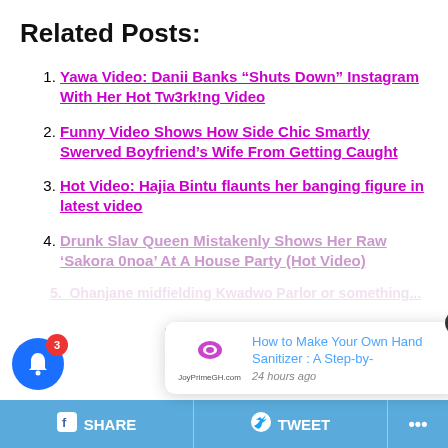Related Posts:
Yawa Video: Danii Banks “Shuts Down” Instagram With Her Hot Tw3rk!ng Video
Funny Video Shows How Side Chic Smartly Swerved Boyfriend’s Wife From Getting Caught
Hot Video: Hajia Bintu flaunts her banging figure in latest video
Drunk Slav Queen Mistakenly Shows Her Raw ‘Sakora 0noa’ At A House Party (Hot Video)
(partial/faded item about Ohenjane midfielding Kwadwo Parlor)
[Figure (screenshot): Notification popup from JoyPrimeGH.com showing 'How to Make Your Own Hand Sanitizer : A Step-by-' posted 24 hours ago, with a close X button]
SHARE   TWEET   ...